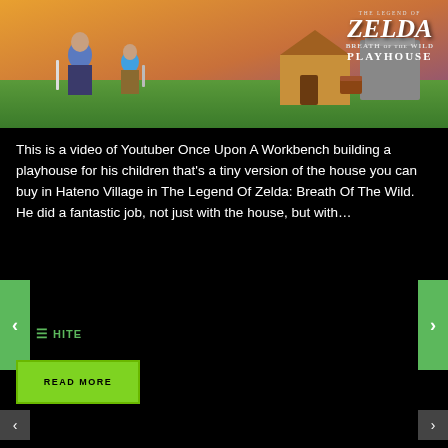[Figure (photo): Photo of children in a yard with a playhouse resembling the house from The Legend of Zelda: Breath of the Wild. The Zelda logo with 'The Legend of Zelda: Breath of the Wild Playhouse' text is overlaid on the right side of the image.]
This is a video of Youtuber Once Upon A Workbench building a playhouse for his children that's a tiny version of the house you can buy in Hateno Village in The Legend Of Zelda: Breath Of The Wild. He did a fantastic job, not just with the house, but with…
HITE
READ MORE